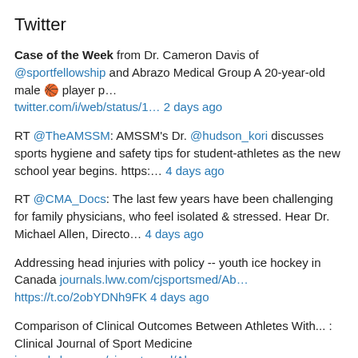Twitter
Case of the Week from Dr. Cameron Davis of @sportfellowship and Abrazo Medical Group A 20-year-old male 🏀 player p… twitter.com/i/web/status/1… 2 days ago
RT @TheAMSSM: AMSSM's Dr. @hudson_kori discusses sports hygiene and safety tips for student-athletes as the new school year begins. https:… 4 days ago
RT @CMA_Docs: The last few years have been challenging for family physicians, who feel isolated & stressed. Hear Dr. Michael Allen, Directo… 4 days ago
Addressing head injuries with policy -- youth ice hockey in Canada journals.lww.com/cjsportsmed/Ab… https://t.co/2obYDNh9FK 4 days ago
Comparison of Clinical Outcomes Between Athletes With... : Clinical Journal of Sport Medicine journals.lww.com/cjsportsmed/Ab… 6 days ago